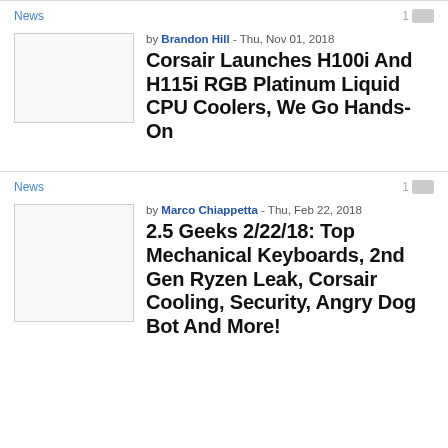News
by Brandon Hill - Thu, Nov 01, 2018
Corsair Launches H100i And H115i RGB Platinum Liquid CPU Coolers, We Go Hands-On
News
by Marco Chiappetta - Thu, Feb 22, 2018
2.5 Geeks 2/22/18: Top Mechanical Keyboards, 2nd Gen Ryzen Leak, Corsair Cooling, Security, Angry Dog Bot And More!